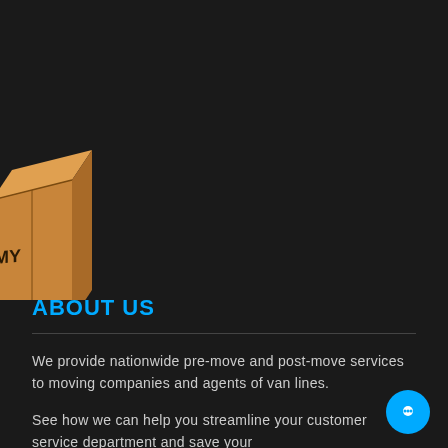[Figure (photo): Dark background hero image with a cardboard moving box partially visible at the left edge. The box has 'MY' text partially visible on its side.]
ABOUT US
We provide nationwide pre-move and post-move services to moving companies and agents of van lines.
See how we can help you streamline your customer service department and save your